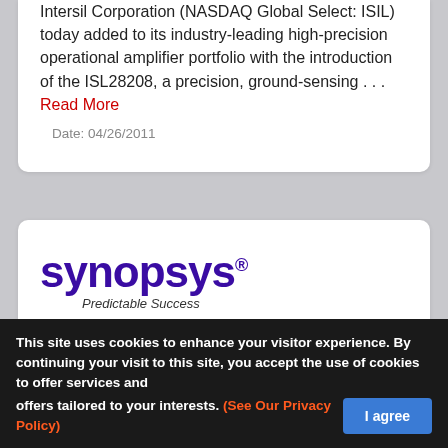Intersil Corporation (NASDAQ Global Select: ISIL) today added to its industry-leading high-precision operational amplifier portfolio with the introduction of the ISL28208, a precision, ground-sensing . . . Read More
Date: 04/26/2011
[Figure (logo): Synopsys logo with tagline 'Predictable Success']
Latest Innovations in Synopsys IC Compiler Deliver up to 40% Power Reduction at HiSilicon
This site uses cookies to enhance your visitor experience. By continuing your visit to this site, you accept the use of cookies to offer services and offers tailored to your interests. (See Our Privacy Policy)